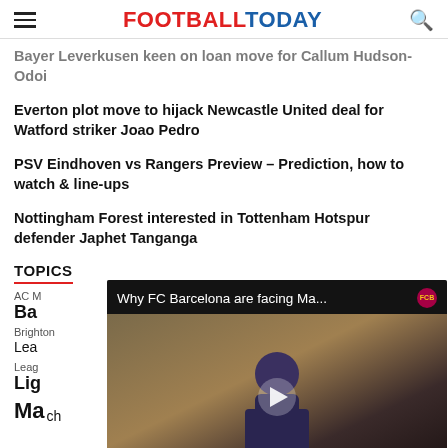FOOTBALL TODAY
Bayer Leverkusen keen on loan move for Callum Hudson-Odoi
Everton plot move to hijack Newcastle United deal for Watford striker Joao Pedro
PSV Eindhoven vs Rangers Preview – Prediction, how to watch & line-ups
Nottingham Forest interested in Tottenham Hotspur defender Japhet Tanganga
TOPICS
AC M
Ba
Brighton
Lea
Leag
Lig
Ma...ch
[Figure (screenshot): Video overlay showing 'Why FC Barcelona are facing Ma...' with a play button and a footballer in a Barcelona-style setting with sponsor banners reading 'Fes-te' and 'soci']